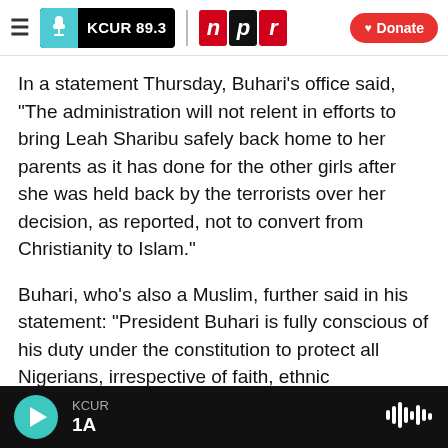KCUR 89.3 | npr | Donate
In a statement Thursday, Buhari's office said, "The administration will not relent in efforts to bring Leah Sharibu safely back home to her parents as it has done for the other girls after she was held back by the terrorists over her decision, as reported, not to convert from Christianity to Islam."
Buhari, who's also a Muslim, further said in his statement: "President Buhari is fully conscious of his duty under the constitution to protect all Nigerians, irrespective of faith, ethnic background or geopolitical location and will not shirk in this responsibility. The President is equally mindful of
KCUR | 1A